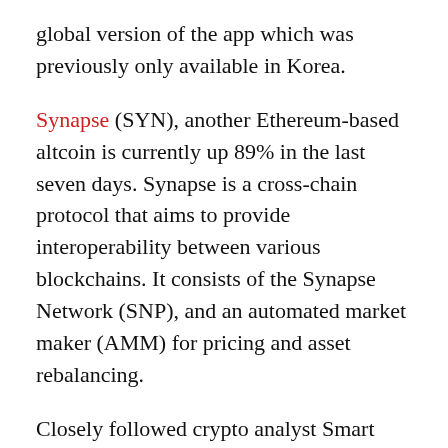global version of the app which was previously only available in Korea.
Synapse (SYN), another Ethereum-based altcoin is currently up 89% in the last seven days. Synapse is a cross-chain protocol that aims to provide interoperability between various blockchains. It consists of the Synapse Network (SNP), and an automated market maker (AMM) for pricing and asset rebalancing.
Closely followed crypto analyst Smart Contracter recently told his 198,000 followers that SYN looked exceptional in its Wrapped Ethereum pair (SYN/WETH).
“With all the layer ones competing against each